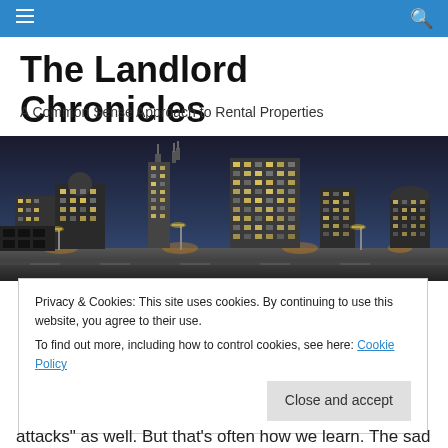The Landlord Chronicles — navigation bar
The Landlord Chronicles
A Common Sense Approach to Rental Properties
[Figure (photo): Nighttime city skyline with tall buildings illuminated against a dark sky]
Privacy & Cookies: This site uses cookies. By continuing to use this website, you agree to their use.
To find out more, including how to control cookies, see here: Cookie Policy
[Close and accept]
attacks" as well. But that's often how we learn. The sad